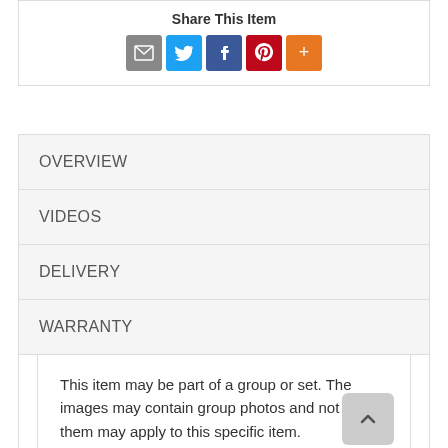Share This Item
[Figure (infographic): Social share buttons: email (grey), Twitter (blue), Facebook (dark blue), Pinterest (red), More (orange)]
OVERVIEW
VIDEOS
DELIVERY
WARRANTY
This item may be part of a group or set. The images may contain group photos and not all of them may apply to this specific item.